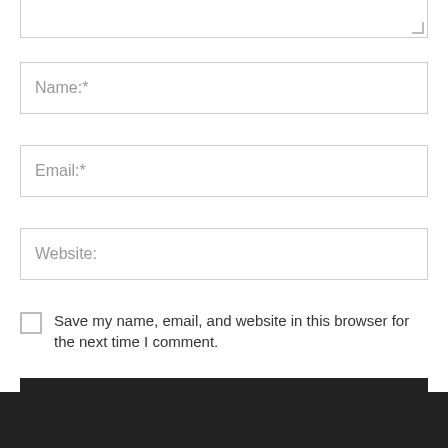[Figure (screenshot): Partial textarea (top portion visible with resize handle in bottom-right corner)]
Name:*
Email:*
Website:
Save my name, email, and website in this browser for the next time I comment.
POST COMMENT
[Figure (screenshot): Dark footer bar at the bottom of the page]